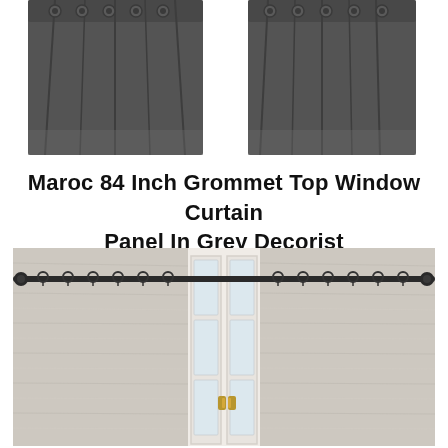[Figure (photo): Two dark grey grommet-top curtain panels shown from the top, side by side, against a white background]
Maroc 84 Inch Grommet Top Window Curtain Panel In Grey Decorist
[Figure (photo): Light grey textured curtain panels hung on a black curtain rod with clip rings, flanking a white French door with gold handles, in a bright room]